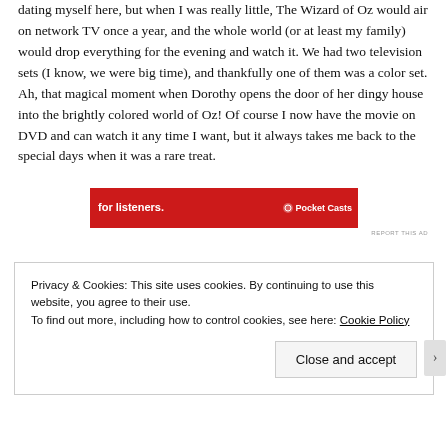dating myself here, but when I was really little, The Wizard of Oz would air on network TV once a year, and the whole world (or at least my family) would drop everything for the evening and watch it. We had two television sets (I know, we were big time), and thankfully one of them was a color set. Ah, that magical moment when Dorothy opens the door of her dingy house into the brightly colored world of Oz! Of course I now have the movie on DVD and can watch it any time I want, but it always takes me back to the special days when it was a rare treat.
[Figure (other): Pocket Casts advertisement banner - red background with white text 'for listeners.' and Pocket Casts logo with a phone image]
REPORT THIS AD
Privacy & Cookies: This site uses cookies. By continuing to use this website, you agree to their use. To find out more, including how to control cookies, see here: Cookie Policy
Close and accept